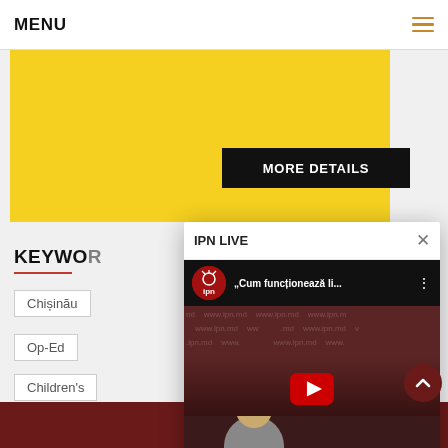MENU
[Figure (screenshot): Yellow promotional banner with MORE DETAILS black button]
KEYWORDS
Chișinău
Op-Ed
Children's
Candidate
[Figure (screenshot): IPN LIVE modal popup showing a YouTube video thumbnail with a woman speaker at a press conference. Video title: 'Cum funcționează li...' with IPN logo. Red play button in center.]